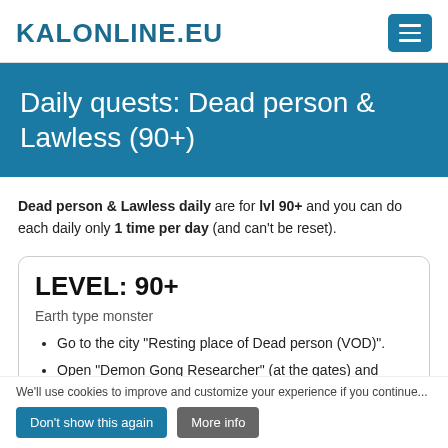KALONLINE.EU
Daily quests: Dead person & Lawless (90+)
Dead person & Lawless daily are for lvl 90+ and you can do each daily only 1 time per day (and can't be reset).
LEVEL: 90+
Earth type monster
Go to the city "Resting place of Dead person (VOD)".
Open "Demon Gong Researcher" (at the gates) and select
Collect 30 [faded] n (Earth)" (you
We'll use cookies to improve and customize your experience if you continue...